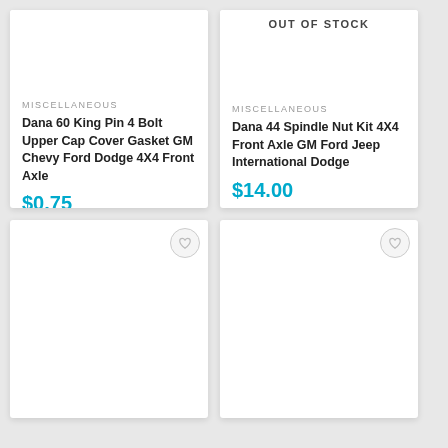[Figure (other): Product card image area - Dana 60 King Pin gasket (blank white)]
MISCELLANEOUS
Dana 60 King Pin 4 Bolt Upper Cap Cover Gasket GM Chevy Ford Dodge 4X4 Front Axle
$0.75
VIEW DETAILS
OUT OF STOCK
[Figure (other): Product card image area - Dana 44 Spindle Nut Kit (blank white)]
MISCELLANEOUS
Dana 44 Spindle Nut Kit 4X4 Front Axle GM Ford Jeep International Dodge
$14.00
VIEW DETAILS
[Figure (other): Product card - bottom left (blank white with wishlist heart icon)]
[Figure (other): Product card - bottom right (blank white with wishlist heart icon)]